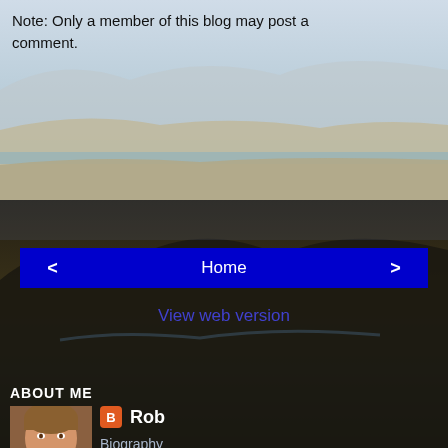Note: Only a member of this blog may post a comment.
[Figure (photo): Landscape photo of a lake/reservoir with mountains in the background, light sky tones]
< Home >
View web version
ABOUT ME
[Figure (photo): Profile photo of Rob, a middle-aged man smiling, partially overlapped by text]
Rob
Biography
View my complete profile
[Figure (photo): Dark landscape photo with lake and mountains at dusk/evening]